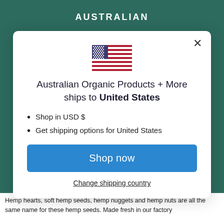AUSTRALIAN
[Figure (illustration): US flag icon displayed in the center of the modal]
Australian Organic Products + More ships to United States
Shop in USD $
Get shipping options for United States
Shop now
Change shipping country
Hemp hearts, soft hemp seeds, hemp nuggets and hemp nuts are all the same name for these hemp seeds. Made fresh in our factory